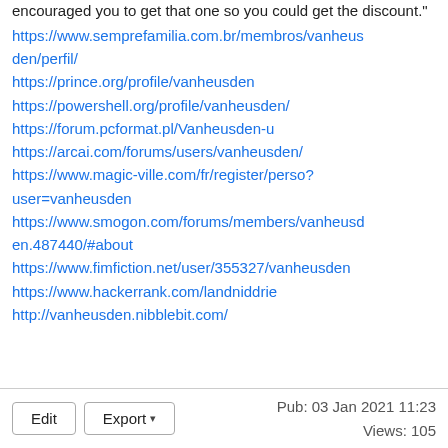encouraged you to get that one so you could get the discount."
https://www.semprefamilia.com.br/membros/vanheusden/perfil/
https://prince.org/profile/vanheusden
https://powershell.org/profile/vanheusden/
https://forum.pcformat.pl/Vanheusden-u
https://arcai.com/forums/users/vanheusden/
https://www.magic-ville.com/fr/register/perso?user=vanheusden
https://www.smogon.com/forums/members/vanheusden.487440/#about
https://www.fimfiction.net/user/355327/vanheusden
https://www.hackerrank.com/landniddrie
http://vanheusden.nibblebit.com/
Edit  Export  Pub: 03 Jan 2021 11:23  Views: 105